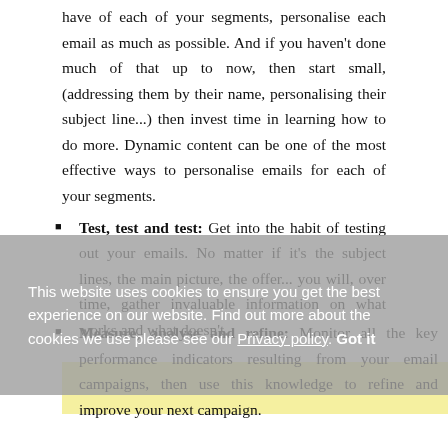have of each of your segments, personalise each email as much as possible. And if you haven't done much of that up to now, then start small, (addressing them by their name, personalising their subject line...) then invest time in learning how to do more. Dynamic content can be one of the most effective ways to personalise emails for each of your segments.
Test, test and test: Get into the habit of testing out your emails. No matter if it's the subject lines, the main picture, the offer... you will, over time, gather invaluable information on what works and what doesn't.
Measure, analyse and refine: Monitor all the key performance indicators resulting from your email campaigns, then use this knowledge to refine and improve your next campaign.